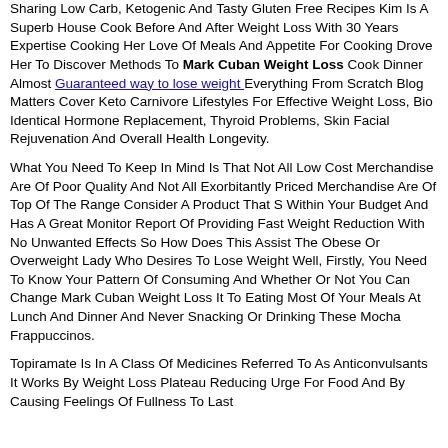Sharing Low Carb, Ketogenic And Tasty Gluten Free Recipes Kim Is A Superb House Cook Before And After Weight Loss With 30 Years Expertise Cooking Her Love Of Meals And Appetite For Cooking Drove Her To Discover Methods To Mark Cuban Weight Loss Cook Dinner Almost Guaranteed way to lose weight Everything From Scratch Blog Matters Cover Keto Carnivore Lifestyles For Effective Weight Loss, Bio Identical Hormone Replacement, Thyroid Problems, Skin Facial Rejuvenation And Overall Health Longevity.
What You Need To Keep In Mind Is That Not All Low Cost Merchandise Are Of Poor Quality And Not All Exorbitantly Priced Merchandise Are Of Top Of The Range Consider A Product That S Within Your Budget And Has A Great Monitor Report Of Providing Fast Weight Reduction With No Unwanted Effects So How Does This Assist The Obese Or Overweight Lady Who Desires To Lose Weight Well, Firstly, You Need To Know Your Pattern Of Consuming And Whether Or Not You Can Change Mark Cuban Weight Loss It To Eating Most Of Your Meals At Lunch And Dinner And Never Snacking Or Drinking These Mocha Frappuccinos.
Topiramate Is In A Class Of Medicines Referred To As Anticonvulsants It Works By Weight Loss Plateau Reducing Urge For Food And By Causing Feelings Of Fullness To Last Longer.